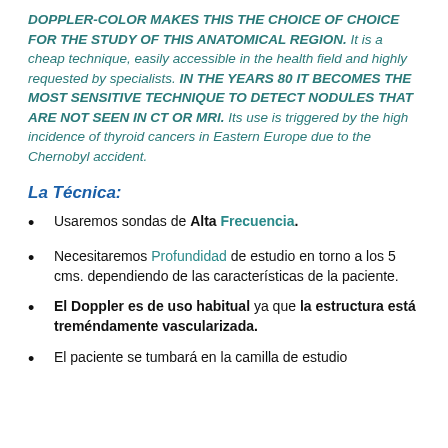DOPPLER-COLOR MAKES THIS THE CHOICE OF CHOICE FOR THE STUDY OF THIS ANATOMICAL REGION. It is a cheap technique, easily accessible in the health field and highly requested by specialists. IN THE YEARS 80 IT BECOMES THE MOST SENSITIVE TECHNIQUE TO DETECT NODULES THAT ARE NOT SEEN IN CT OR MRI. Its use is triggered by the high incidence of thyroid cancers in Eastern Europe due to the Chernobyl accident.
La Técnica:
Usaremos sondas de Alta Frecuencia.
Necesitaremos Profundidad de estudio en torno a los 5 cms. dependiendo de las características de la paciente.
El Doppler es de uso habitual ya que la estructura está treméndamente vascularizada.
El paciente se tumbará en la camilla de estudio